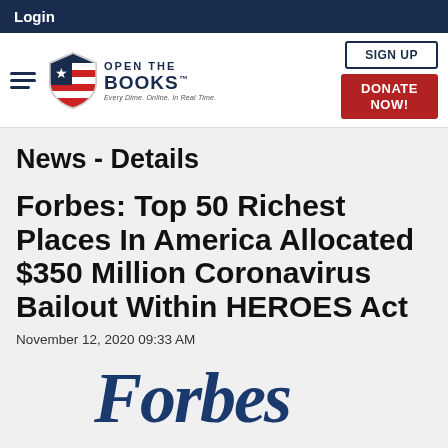Login
[Figure (logo): Open The Books logo with shield icon and navigation buttons (SIGN UP, DONATE NOW!)]
News - Details
Forbes: Top 50 Richest Places In America Allocated $350 Million Coronavirus Bailout Within HEROES Act
November 12, 2020 09:33 AM
[Figure (logo): Forbes logo in blue italic serif font, partially visible]